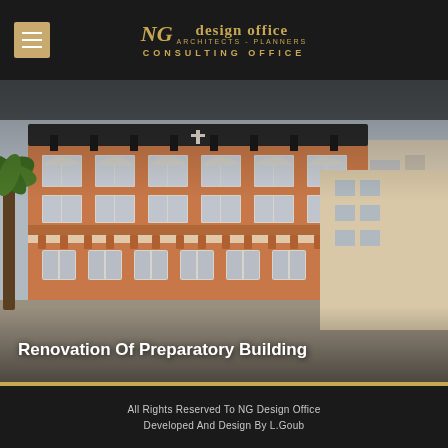NG design office ARCHITECTS - PLANNERS CONSULTING OFFICE
[Figure (photo): Exterior photograph of a multi-story preparatory school building with terracotta/orange facade, multiple white-framed windows, a cross on the roof parapet, palm tree on the left, and adjacent white buildings. Partially shaded/darkened at top and bottom edges.]
Renovation Of Preparatory Building
All Rights Reserved To NG Design Office
Developed And Design By L.Goub